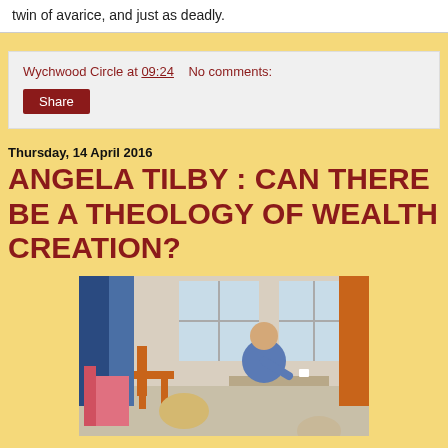twin of avarice, and just as deadly.
Wychwood Circle at 09:24   No comments:
Share
Thursday, 14 April 2016
ANGELA TILBY : CAN THERE BE A THEOLOGY OF WEALTH CREATION?
[Figure (photo): Indoor room scene with people seated around a table; a woman in blue is visible gesturing, with windows and orange-framed chairs in the background.]